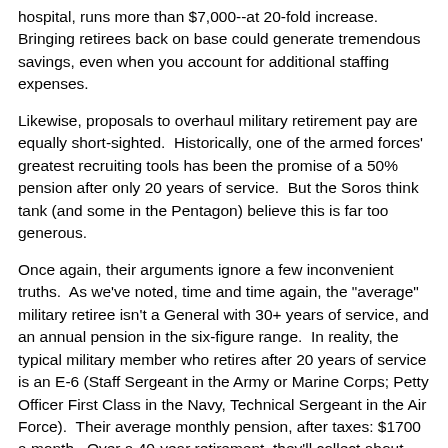hospital, runs more than $7,000--at 20-fold increase. Bringing retirees back on base could generate tremendous savings, even when you account for additional staffing expenses.
Likewise, proposals to overhaul military retirement pay are equally short-sighted. Historically, one of the armed forces' greatest recruiting tools has been the promise of a 50% pension after only 20 years of service. But the Soros think tank (and some in the Pentagon) believe this is far too generous.
Once again, their arguments ignore a few inconvenient truths. As we've noted, time and time again, the "average" military retiree isn't a General with 30+ years of service, and an annual pension in the six-figure range. In reality, the typical military member who retires after 20 years of service is an E-6 (Staff Sergeant in the Army or Marine Corps; Petty Officer First Class in the Navy, Technical Sergeant in the Air Force). Their average monthly pension, after taxes: $1700 a month. Over a 40-year retirement, they'll collect about $816,000. That sounds like princely sum, but it's less than the operating costs for Air Force One on President Obama's